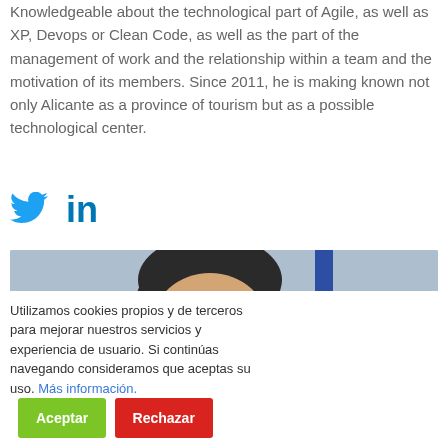Knowledgeable about the technological part of Agile, as well as XP, Devops or Clean Code, as well as the part of the management of work and the relationship within a team and the motivation of its members. Since 2011, he is making known not only Alicante as a province of tourism but as a possible technological center.
[Figure (other): Twitter and LinkedIn social media icons in blue]
[Figure (photo): Partial photo of a person's head with dark hair against a blue and grey background]
Utilizamos cookies propios y de terceros para mejorar nuestros servicios y experiencia de usuario. Si continúas navegando consideramos que aceptas su uso. Más información.